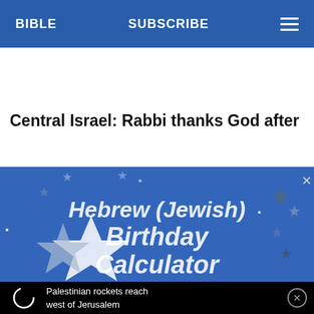BIBLE   SUBSCRIBE   ≡
Central Israel: Rabbi thanks God after
[Figure (screenshot): Advertisement banner for Hebrew (Jewish) Birthday Calculator on a blue starry background with decorative stars]
Palestinian rockets reach west of Jerusalem